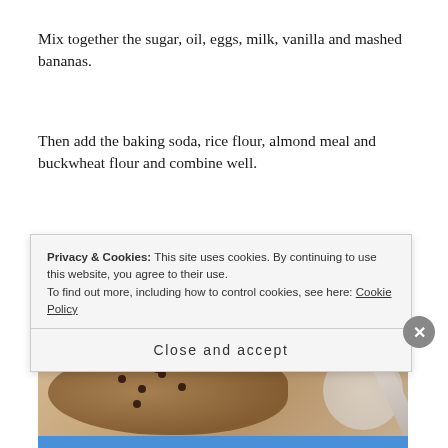Mix together the sugar, oil, eggs, milk, vanilla and mashed bananas.
Then add the baking soda, rice flour, almond meal and buckwheat flour and combine well.
Optional: Add the walnuts and/or chocolate chips and mix.
[Figure (photo): Photo of banana bread batter in a bowl with a wooden spoon, showing chocolate chips mixed in]
Privacy & Cookies: This site uses cookies. By continuing to use this website, you agree to their use.
To find out more, including how to control cookies, see here: Cookie Policy

Close and accept